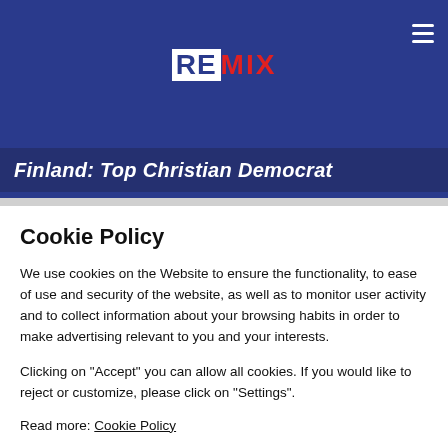REMIX
Finland: Top Christian Democrat
Cookie Policy
We use cookies on the Website to ensure the functionality, to ease of use and security of the website, as well as to monitor user activity and to collect information about your browsing habits in order to make advertising relevant to you and your interests.
Clicking on "Accept" you can allow all cookies. If you would like to reject or customize, please click on "Settings".
Read more: Cookie Policy
SETTINGS
ACCEPT